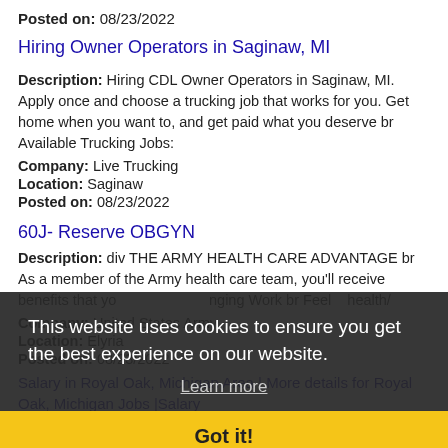Posted on: 08/23/2022
Hiring Owner Operators in Saginaw, MI
Description: Hiring CDL Owner Operators in Saginaw, MI. Apply once and choose a trucking job that works for you. Get home when you want to, and get paid what you deserve br Available Trucking Jobs:
Company: Live Trucking
Location: Saginaw
Posted on: 08/23/2022
60J- Reserve OBGYN
Description: div THE ARMY HEALTH CARE ADVANTAGE br As a member of the Army health care team, you'll receive benefits that yo... nging Work br Feel ... health/...
Company: United States Army
Location: Elyria
Posted on: 08/23/2022
This website uses cookies to ensure you get the best experience on our website.
Learn more
Got it!
Salary in Royal Oak, Michigan Area | More details for Royal Oak, Michigan Jobs |Salary
CDL-A Owner Operator Truck Driver